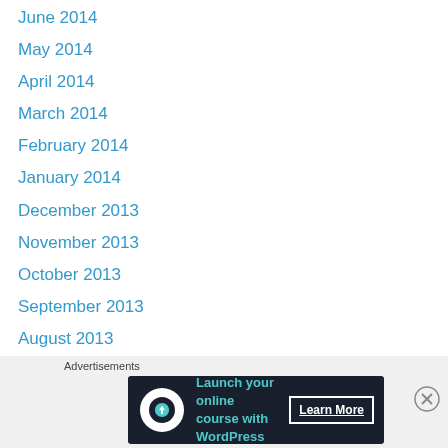June 2014
May 2014
April 2014
March 2014
February 2014
January 2014
December 2013
November 2013
October 2013
September 2013
August 2013
July 2013
June 2013
May 2013
April 2013
March 2013
February 2013
Advertisements
[Figure (infographic): Advertisement banner: Launch your online course with WordPress — Learn More button, dark background with teal text and white icon]